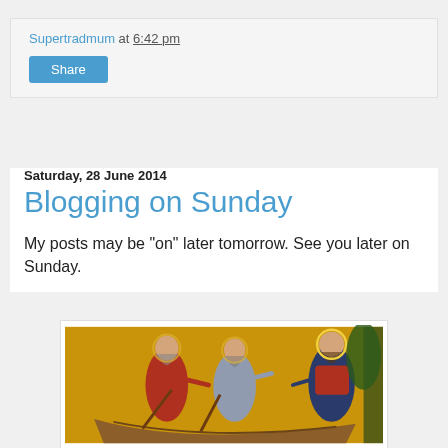Supertradmum at 6:42 pm
Share
Saturday, 28 June 2014
Blogging on Sunday
My posts may be "on" later tomorrow. See you later on Sunday.
[Figure (illustration): Medieval-style icon painting showing three figures: two disciples and Jesus calling them, set against a golden background with a boat in the foreground.]